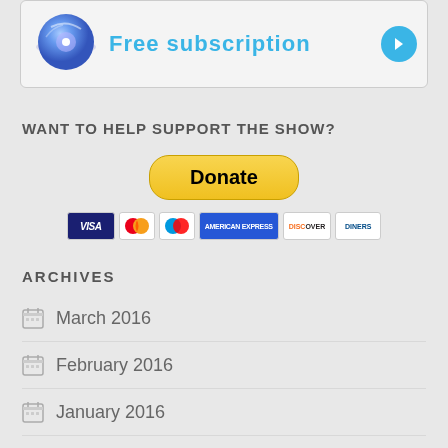[Figure (illustration): Top banner with disc/CD icon, 'Free subscription' text in blue, and a blue arrow button]
WANT TO HELP SUPPORT THE SHOW?
[Figure (other): PayPal Donate button (yellow rounded) with payment card icons below: VISA, Mastercard, Maestro, American Express, Discover, Diners Club]
ARCHIVES
March 2016
February 2016
January 2016
December 2015